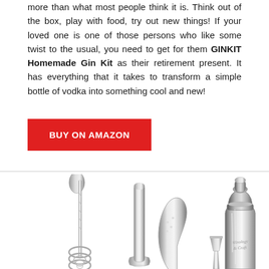more than what most people think it is. Think out of the box, play with food, try out new things! If your loved one is one of those persons who like some twist to the usual, you need to get for them GINKIT Homemade Gin Kit as their retirement present. It has everything that it takes to transform a simple bottle of vodka into something cool and new!
BUY ON AMAZON
[Figure (photo): Stainless steel cocktail/bar tool set including a cocktail shaker with Mixology & Craft branding, a bar spoon, a muddler, a strainer, and a jigger, all in polished silver finish.]